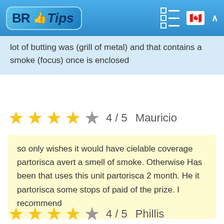BR Tips
lot of butting was (grill of metal) and that contains a smoke (focus) once is enclosed
4 / 5   Mauricio
so only wishes it would have cielable coverage partorisca avert a smell of smoke. Otherwise Has been that uses this unit partorisca 2 month. He it partorisca some stops of paid of the prize. I recommend
4 / 5   Phillis